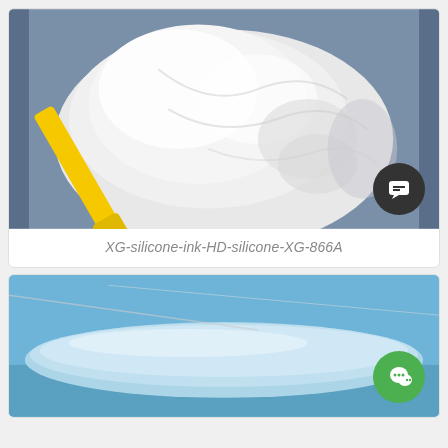[Figure (photo): Photo of white silicone gel being mixed in a dark container with a yellow spatula/scraper tool.]
XG-silicone-ink-HD-silicone-XG-866A
[Figure (photo): Photo of a light blue silicone product or material piece lying on a blue surface.]